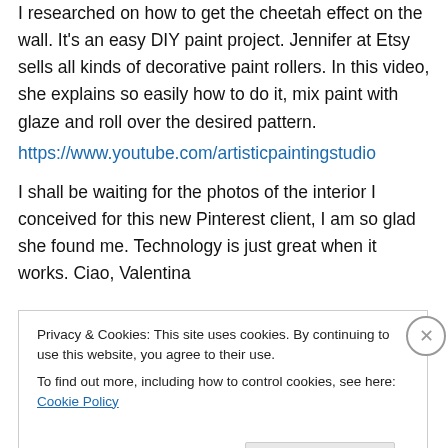I researched on how to get the cheetah effect on the wall. It's an easy DIY paint project. Jennifer at Etsy sells all kinds of decorative paint rollers. In this video, she explains so easily how to do it, mix paint with glaze and roll over the desired pattern.
https://www.youtube.com/artisticpaintingstudio
I shall be waiting for the photos of the interior I conceived for this new Pinterest client, I am so glad she found me. Technology is just great when it works. Ciao, Valentina
http://www.valentinadesigns.com
Privacy & Cookies: This site uses cookies. By continuing to use this website, you agree to their use.
To find out more, including how to control cookies, see here: Cookie Policy
Close and accept